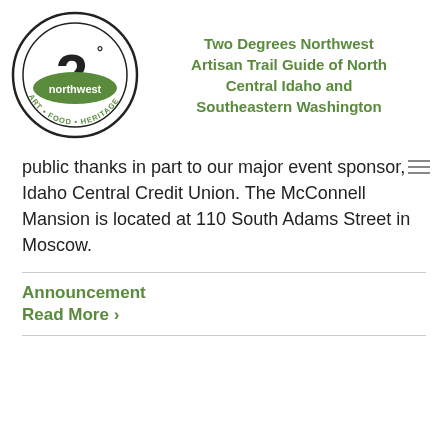[Figure (logo): Two Degrees Northwest logo: circular logo with '2°' and 'northwest' text, 'ART • FOOD • HERITAGE' around the bottom]
Two Degrees Northwest Artisan Trail Guide of North Central Idaho and Southeastern Washington
public thanks in part to our major event sponsor, Idaho Central Credit Union. The McConnell Mansion is located at 110 South Adams Street in Moscow.
Announcement
Read More ›